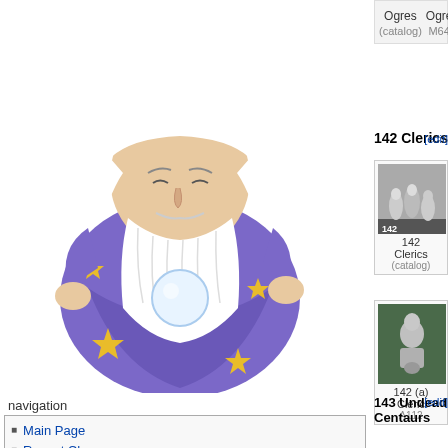[Figure (illustration): Wizard/sorcerer illustration in purple robe with stars, white beard, holding a glowing orb, comic book style]
navigation
Main Page
Recent Changes
Latest Images
Help
Rules and Conventions
Commercial Contributors
Links
Cookies on this site
Donate to Lost Minis Wiki
search
| Ogres | Ogre |
| --- | --- |
| (catalog) | M64 |
142 Clerics
[Figure (photo): Black and white catalog photo of miniature cleric figures, labeled 142]
[Figure (photo): Color photo of a single metal miniature cleric figure on green base]
142
Clerics
(catalog)
142 (a)
Cleric
A112
143 Undead Centaurs
[Figure (photo): Photo of undead centaur miniature figure]
[Figure (photo): Photo of undead centaur miniature figure (second)]